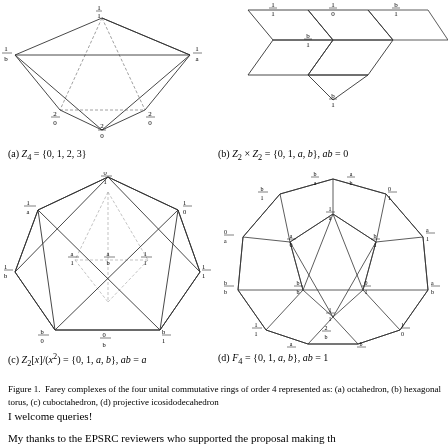[Figure (other): Farey complex diagram for Z4 = {0,1,2,3}, showing octahedron-like graph with fractional vertex labels]
(a) Z_4 = {0,1,2,3}
[Figure (other): Farey complex diagram for Z2 x Z2 = {0,1,a,b}, ab=0, hexagonal torus structure]
(b) Z_2 x Z_2 = {0,1,a,b}, ab = 0
[Figure (other): Farey complex cuboctahedron diagram for Z2[x]/(x^2) = {0,1,a,b}, ab=a]
(c) Z_2[x]/(x^2) = {0,1,a,b}, ab = a
[Figure (other): Farey complex projective icosidodecahedron diagram for F4 = {0,1,a,b}, ab=1]
(d) F_4 = {0,1,a,b}, ab = 1
Figure 1. Farey complexes of the four unital commutative rings of order 4 represented as: (a) octahedron, (b) hexagonal torus, (c) cuboctahedron, (d) projective icosidodecahedron
I welcome queries!
My thanks to the EPSRC reviewers who supported the proposal making th